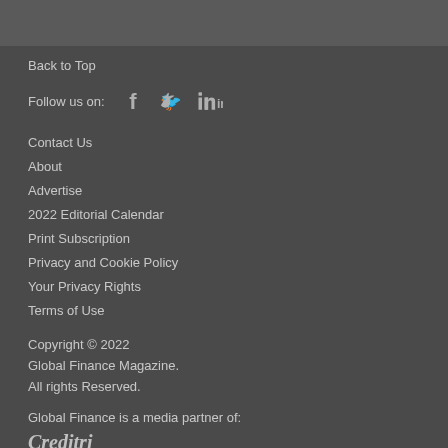Back to Top
Follow us on:
Contact Us
About
Advertise
2022 Editorial Calendar
Print Subscription
Privacy and Cookie Policy
Your Privacy Rights
Terms of Use
Copyright © 2022
Global Finance Magazine.
All rights Reserved.
Global Finance is a media partner of:
[Figure (logo): Creditri logo in italic script font]